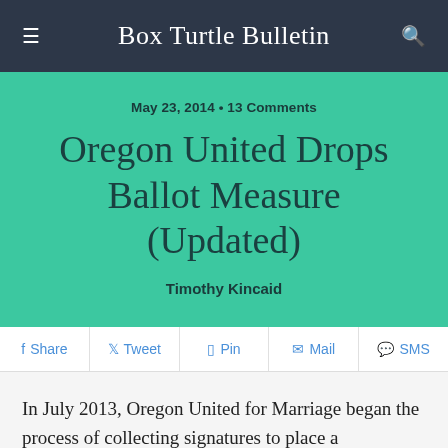Box Turtle Bulletin
May 23, 2014 • 13 Comments
Oregon United Drops Ballot Measure (Updated)
Timothy Kincaid
Share  Tweet  Pin  Mail  SMS
In July 2013, Oregon United for Marriage began the process of collecting signatures to place a proposition on the ballot to reverse the state's 2004 constitutional amendment banning same-sex marriage. With significant high-profile political support and large contributions from